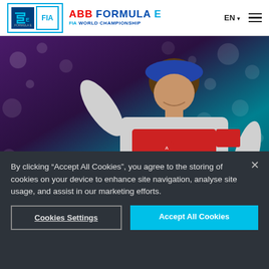ABB FORMULA E FIA WORLD CHAMPIONSHIP
[Figure (photo): Racing driver in Avalanche Andretti team suit raising arm, wearing blue cap, celebrating with bokeh lights in background]
NEWS
Avalanche Andretti extends Dennis deal with
By clicking “Accept All Cookies”, you agree to the storing of cookies on your device to enhance site navigation, analyse site usage, and assist in our marketing efforts.
Cookies Settings
Accept All Cookies